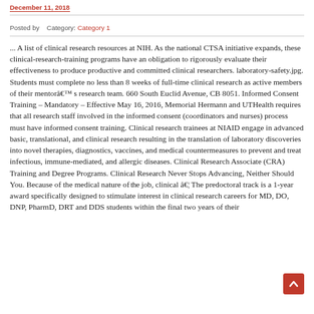December 11, 2018
Posted by    Category: Category 1
... A list of clinical research resources at NIH. As the national CTSA initiative expands, these clinical-research-training programs have an obligation to rigorously evaluate their effectiveness to produce productive and committed clinical researchers. laboratory-safety.jpg. Students must complete no less than 8 weeks of full-time clinical research as active members of their mentorâ s research team. 660 South Euclid Avenue, CB 8051. Informed Consent Training – Mandatory – Effective May 16, 2016, Memorial Hermann and UTHealth requires that all research staff involved in the informed consent (coordinators and nurses) process must have informed consent training. Clinical research trainees at NIAID engage in advanced basic, translational, and clinical research resulting in the translation of laboratory discoveries into novel therapies, diagnostics, vaccines, and medical countermeasures to prevent and treat infectious, immune-mediated, and allergic diseases. Clinical Research Associate (CRA) Training and Degree Programs. Clinical Research Never Stops Advancing, Neither Should You. Because of the medical nature of the job, clinical â¦ The predoctoral track is a 1-year award specifically designed to stimulate interest in clinical research careers for MD, DO, DNP, PharmD, DRT and DDS students within the final two years of their